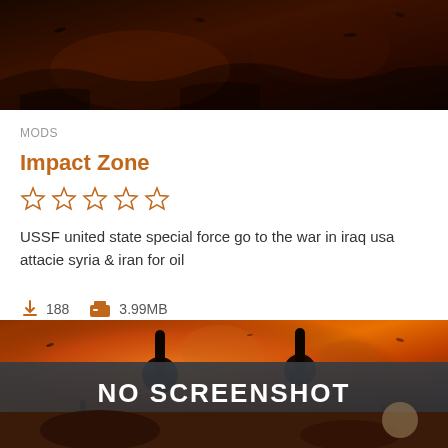[Figure (illustration): Dark war-themed banner image at top with dark brownish-red tones and silhouettes]
MODS
Impact Zone
[Figure (other): Five empty star rating icons in orange/amber color]
USSF united state special force go to the war in iraq usa attacie syria & iran for oil
188   3.99MB
[Figure (screenshot): War game screenshot placeholder showing explosive battle scene with tanks and soldiers, with NO SCREENSHOT text overlay banner]